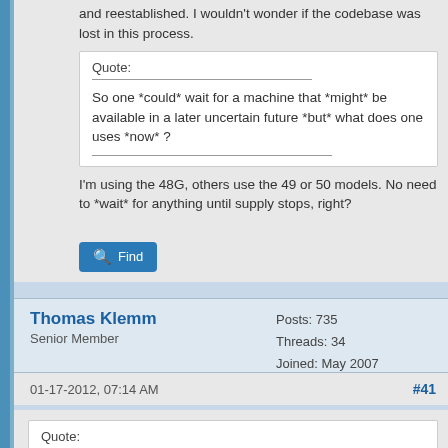and reestablished. I wouldn't wonder if the codebase was lost in this process.
Quote:
So one *could* wait for a machine that *might* be available in a later uncertain future *but* what does one uses *now* ?
I'm using the 48G, others use the 49 or 50 models. No need to *wait* for anything until supply stops, right?
Find
Thomas Klemm
Senior Member
Posts: 735
Threads: 34
Joined: May 2007
01-17-2012, 07:14 AM
#41
Quote: